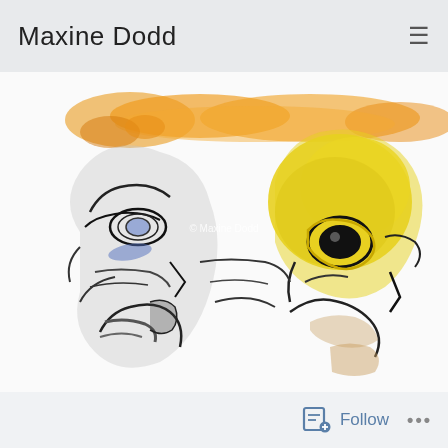Maxine Dodd
[Figure (illustration): Abstract watercolor and ink artwork showing two stylized figures/heads. The left figure has a blue eye and grey/black ink marks; the right figure has a yellow head with a bold black eye. Orange/amber watercolor wash across the top. Copyright watermark reads '© Maxine Dodd'.]
Follow ...